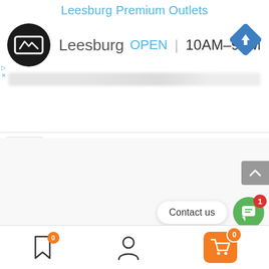Leesburg Premium Outlets
Leesburg  OPEN  10AM–9PM
[Figure (screenshot): Mobile app UI screenshot showing Leesburg Premium Outlets store listing with logo, open status, hours, contact us button, chat widget, and bottom navigation bar with bookmark (0), user, and cart (0) icons.]